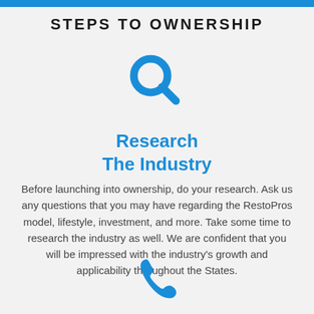STEPS TO OWNERSHIP
[Figure (illustration): Blue magnifying glass search icon]
Research The Industry
Before launching into ownership, do your research. Ask us any questions that you may have regarding the RestoPros model, lifestyle, investment, and more. Take some time to research the industry as well. We are confident that you will be impressed with the industry's growth and applicability throughout the States.
[Figure (illustration): Blue telephone/phone icon]